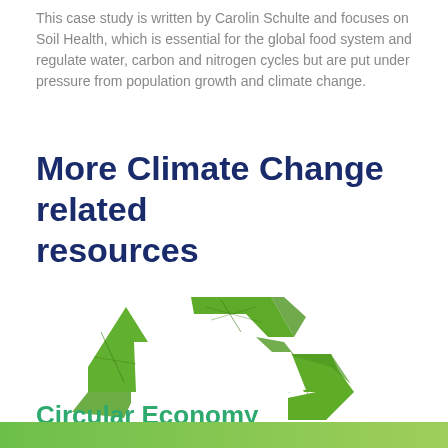This case study is written by Carolin Schulte and focuses on Soil Health, which is essential for the global food system and regulate water, carbon and nitrogen cycles but are put under pressure from population growth and climate change.
More Climate Change related resources
[Figure (illustration): A recycling symbol made of green leaf textures on a white background, representing circular/sustainable economy concepts.]
Circular Economy